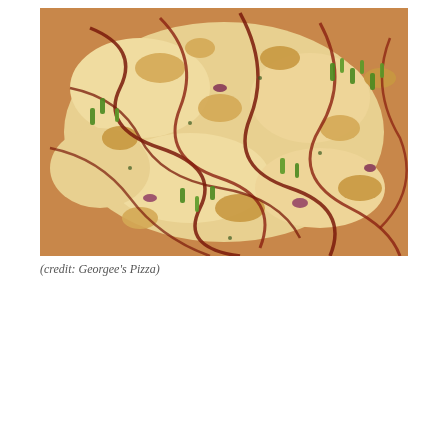[Figure (photo): Close-up photo of a pizza topped with BBQ sauce drizzle, grilled chicken pieces, green onions, red onions, and melted cheese.]
(credit: Georgee's Pizza)
Georgee's Pizza
720 Foothill Blvd
La Cañada Flintridge, CA 91011
(818) 790-0637
www.georgeespizza.com